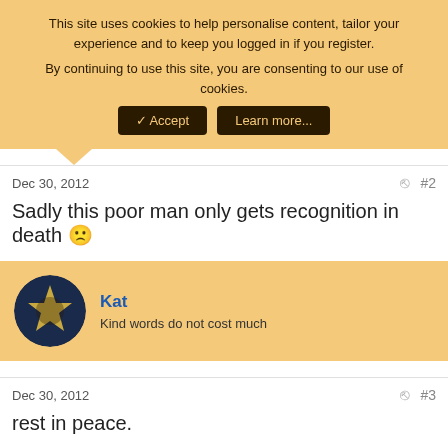This site uses cookies to help personalise content, tailor your experience and to keep you logged in if you register. By continuing to use this site, you are consenting to our use of cookies.
✓ Accept | Learn more...
Dec 30, 2012
#2
Sadly this poor man only gets recognition in death 🙁
Kat
Kind words do not cost much
Dec 30, 2012
#3
rest in peace.